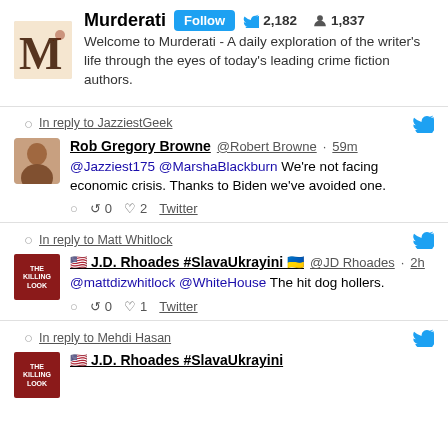[Figure (screenshot): Twitter/social media feed screenshot showing Murderati profile and tweets]
Murderati Follow 2,182 1,837
Welcome to Murderati - A daily exploration of the writer's life through the eyes of today's leading crime fiction authors.
In reply to JazziestGeek
Rob Gregory Browne @Robert Browne · 59m
@Jazziest175 @MarshaBlackburn We're not facing economic crisis. Thanks to Biden we've avoided one.
0  0  2  Twitter
In reply to Matt Whitlock
J.D. Rhoades #SlavaUkrayini @JD Rhoades · 2h
@mattdizwhitlock @WhiteHouse The hit dog hollers.
0  0  1  Twitter
In reply to Mehdi Hasan